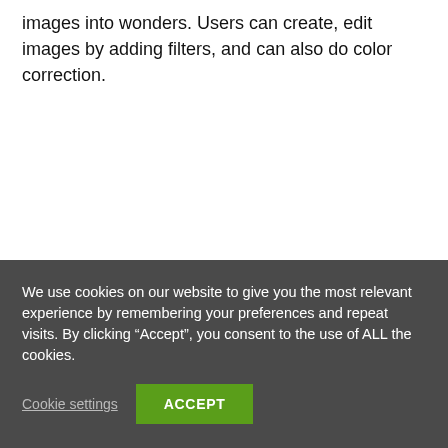images into wonders. Users can create, edit images by adding filters, and can also do color correction.
We use cookies on our website to give you the most relevant experience by remembering your preferences and repeat visits. By clicking “Accept”, you consent to the use of ALL the cookies.
Cookie settings
ACCEPT